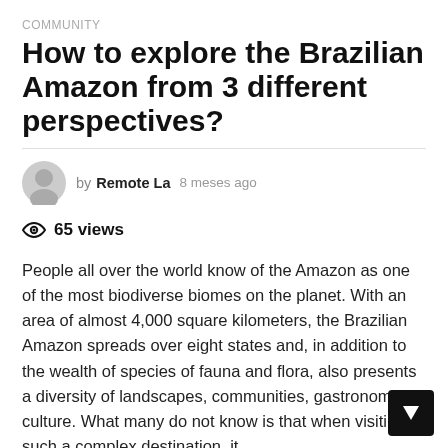COMMUNITY
How to explore the Brazilian Amazon from 3 different perspectives?
by Remote La  8 meses ago
65 views
People all over the world know of the Amazon as one of the most biodiverse biomes on the planet. With an area of almost 4,000 square kilometers, the Brazilian Amazon spreads over eight states and, in addition to the wealth of species of fauna and flora, also presents a diversity of landscapes, communities, gastronomy a culture. What many do not know is that when visiting such a complex destination, it